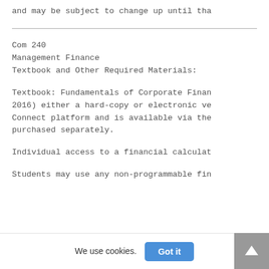and may be subject to change up until tha
Com 240
Management Finance
Textbook and Other Required Materials:
Textbook: Fundamentals of Corporate Finan 2016) either a hard-copy or electronic ve Connect platform and is available via the purchased separately.
Individual access to a financial calculat
Students may use any non-programmable fin
We use cookies.
Got it